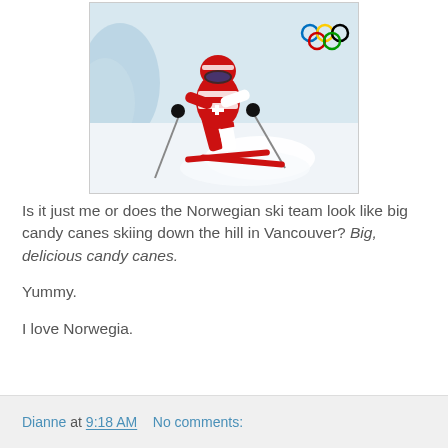[Figure (photo): A skier in a red and white striped suit with a Swiss cross, racing downhill at the Vancouver Winter Olympics, spraying snow.]
Is it just me or does the Norwegian ski team look like big candy canes skiing down the hill in Vancouver? Big, delicious candy canes.

Yummy.

I love Norwegia.
Dianne at 9:18 AM    No comments: